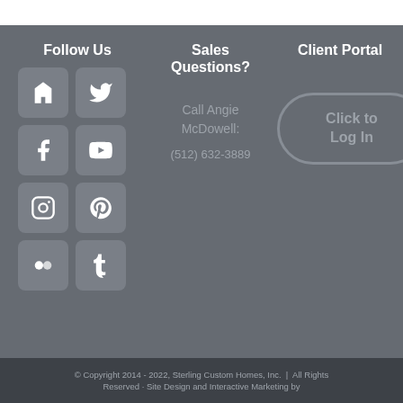Follow Us
[Figure (infographic): Grid of 8 social media icons: Houzz, Twitter, Facebook, YouTube, Instagram, Pinterest, Flickr, Tumblr]
Sales Questions?
Call Angie McDowell:
(512) 632-3889
Client Portal
Click to Log In
© Copyright 2014 - 2022, Sterling Custom Homes, Inc.  |  All Rights Reserved · Site Design and Interactive Marketing by